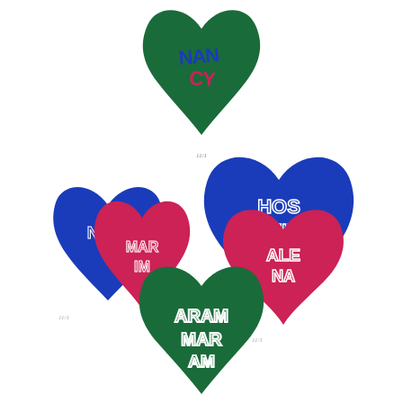[Figure (illustration): Five decorative heart shapes filled with stylized psychedelic lettering spelling out names. Top center: a green heart with blue and red lettering reading 'NANCY' with a small signature/stamp below it. Middle left: overlapping blue and red hearts reading 'NICK' (blue) and 'MARIM' (red). Middle right: overlapping blue and red hearts reading 'HOSSEIN' (blue) and 'ALENA' (red) with a small signature below. Bottom center: a green heart reading 'MARIM' or 'ARAM' in dark green lettering. All text is rendered in a 1960s psychedelic style with flowing, interlocking letters forming the heart shapes.]